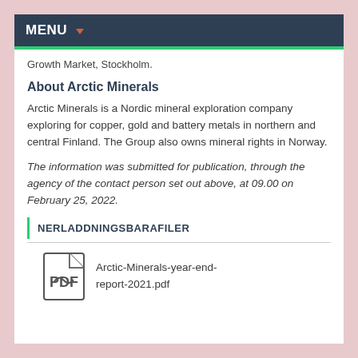MENU
Growth Market, Stockholm.
About Arctic Minerals
Arctic Minerals is a Nordic mineral exploration company exploring for copper, gold and battery metals in northern and central Finland. The Group also owns mineral rights in Norway.
The information was submitted for publication, through the agency of the contact person set out above, at 09.00 on February 25, 2022.
NERLADDNINGSBARAFILER
Arctic-Minerals-year-end-report-2021.pdf